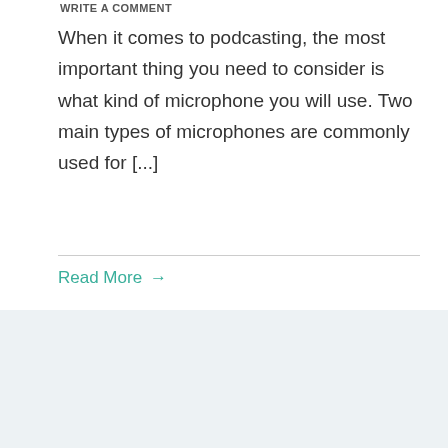WRITE A COMMENT
When it comes to podcasting, the most important thing you need to consider is what kind of microphone you will use. Two main types of microphones are commonly used for [...]
Read More →